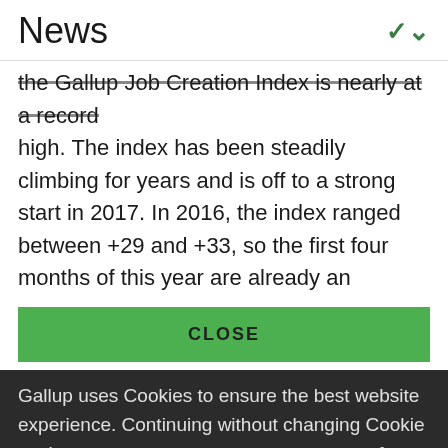News
the Gallup Job Creation Index is nearly at a record high. The index has been steadily climbing for years and is off to a strong start in 2017. In 2016, the index ranged between +29 and +33, so the first four months of this year are already an
CLOSE
Gallup uses Cookies to ensure the best website experience. Continuing without changing Cookie settings assumes you consent to our use of cookies on this device. You can change this setting at any time, but that may impair functionality on our websites.
Privacy Statement   Site Terms of Use and Sale
Product Terms of Use   Adjust your cookie settings.